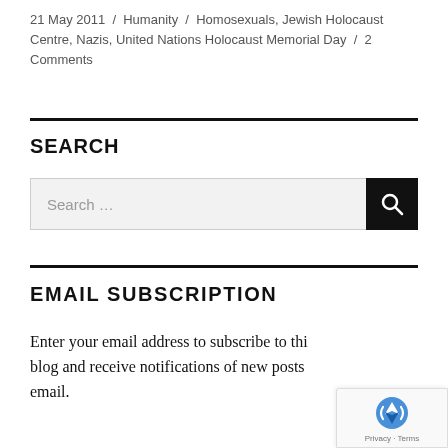21 May 2011 / Humanity / Homosexuals, Jewish Holocaust Centre, Nazis, United Nations Holocaust Memorial Day / 2 Comments
SEARCH
Search …
EMAIL SUBSCRIPTION
Enter your email address to subscribe to this blog and receive notifications of new posts by email.